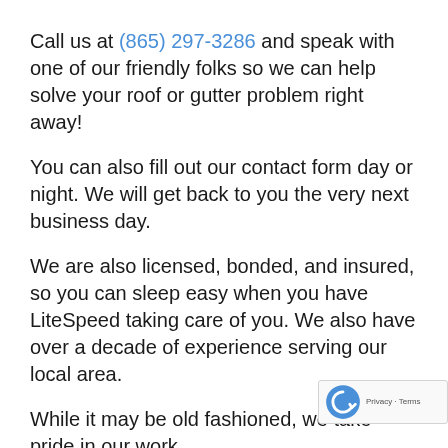Call us at (865) 297-3286 and speak with one of our friendly folks so we can help solve your roof or gutter problem right away!
You can also fill out our contact form day or night. We will get back to you the very next business day.
We are also licensed, bonded, and insured, so you can sleep easy when you have LiteSpeed taking care of you. We also have over a decade of experience serving our local area.
While it may be old fashioned, we take pride in our work.
About Lenoir City, TN.
Lenoir City is a suburban city in Loudon County, Tennessee, United States. The population was